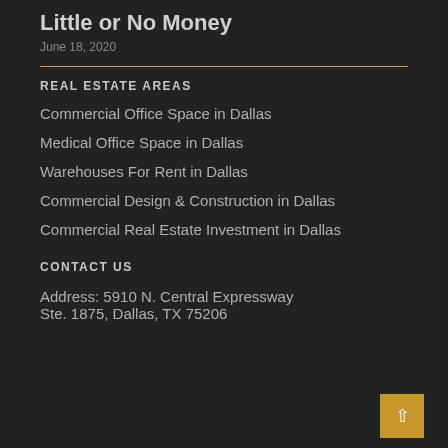Little or No Money
June 18, 2020
REAL ESTATE AREAS
Commercial Office Space in Dallas
Medical Office Space in Dallas
Warehouses For Rent in Dallas
Commercial Design & Construction in Dallas
Commercial Real Estate Investment in Dallas
CONTACT US
Address: 5910 N. Central Expressway Ste. 1875, Dallas, TX 75206